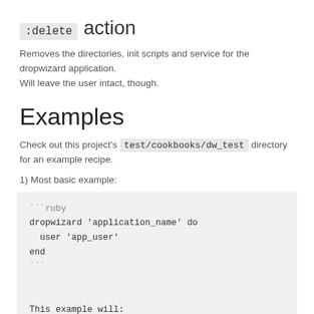:delete action
Removes the directories, init scripts and service for the dropwizard application. Will leave the user intact, though.
Examples
Check out this project's test/cookbooks/dw_test directory for an example recipe.
1) Most basic example:
[Figure (screenshot): Code block showing ruby dropwizard example: ```ruby dropwizard 'application_name' do   user 'app_user' end ``` followed by: This example will: * Create the `app_user` system user with no login o ...]